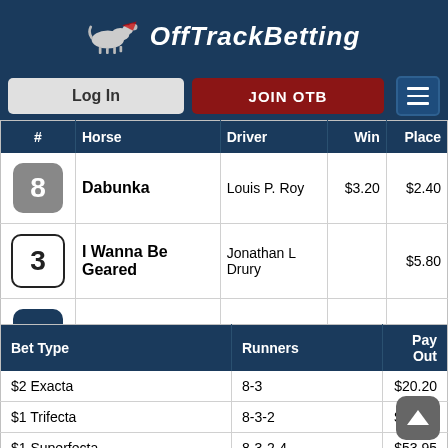OffTrackBetting
| # | Horse | Driver | Win | Place |
| --- | --- | --- | --- | --- |
| 8 | Dabunka | Louis P. Roy | $3.20 | $2.40 |
| 3 | I Wanna Be Geared | Jonathan L Drury |  | $5.80 |
| 2 | Emptythetill | Scott Coulter |  |  |
| Bet Type | Runners | Pay Out |
| --- | --- | --- |
| $2 Exacta | 8-3 | $20.20 |
| $1 Trifecta | 8-3-2 | $28.65 |
| $1 Superfecta | 8-3-2-4 | $53.95 |